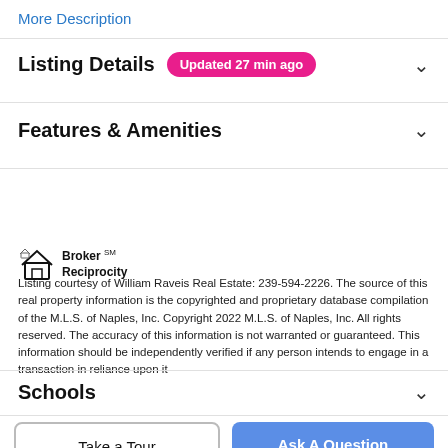More Description
Listing Details
Updated 27 min ago
Features & Amenities
[Figure (logo): Broker Reciprocity logo with house icon and text]
Listing courtesy of William Raveis Real Estate: 239-594-2226. The source of this real property information is the copyrighted and proprietary database compilation of the M.L.S. of Naples, Inc. Copyright 2022 M.L.S. of Naples, Inc. All rights reserved. The accuracy of this information is not warranted or guaranteed. This information should be independently verified if any person intends to engage in a transaction in reliance upon it
Schools
Take a Tour
Ask A Question